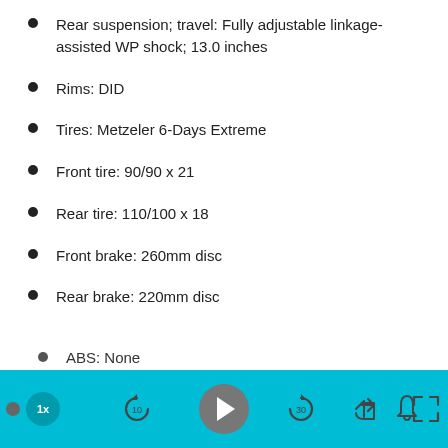Rear suspension; travel: Fully adjustable linkage-assisted WP shock; 13.0 inches
Rims: DID
Tires: Metzeler 6-Days Extreme
Front tire: 90/90 x 21
Rear tire: 110/100 x 18
Front brake: 260mm disc
Rear brake: 220mm disc
ABS: None